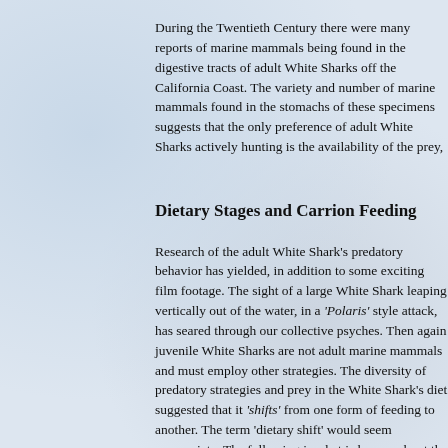During the Twentieth Century there were many reports of marine mammals being found in the digestive tracts of adult White Sharks off the California Coast. The variety and number of marine mammals found in the stomachs of these specimens suggests that the only preference of adult White Sharks actively hunting is the availability of the prey,
Dietary Stages and Carrion Feeding
Research of the adult White Shark's predatory behavior has yielded, in addition to some exciting film footage. The sight of a large White Shark leaping vertically out of the water, in a 'Polaris' style attack, has seared through our collective psyches. Then again juvenile White Sharks are not adult marine mammals and must employ other strategies. The diversity of predatory strategies and prey in the White Shark's diet suggested that it 'shifts' from one form of feeding to another. The term 'dietary shift' would seem appropriate. The following is what is known about the White Shark from juvenile to adult, followed by a description of carrion feeding discussed in the literature.
Some researchers have suggested that the White Shark begins at about a length of about 3 meters. It is hypothesized